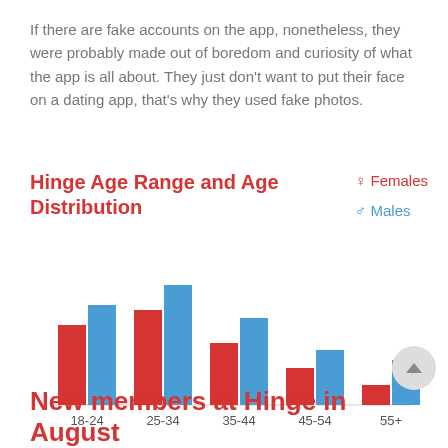If there are fake accounts on the app, nonetheless, they were probably made out of boredom and curiosity of what the app is all about. They just don't want to put their face on a dating app, that's why they used fake photos.
Hinge Age Range and Age Distribution
[Figure (grouped-bar-chart): Hinge Age Range and Age Distribution]
New members at Hinge in August